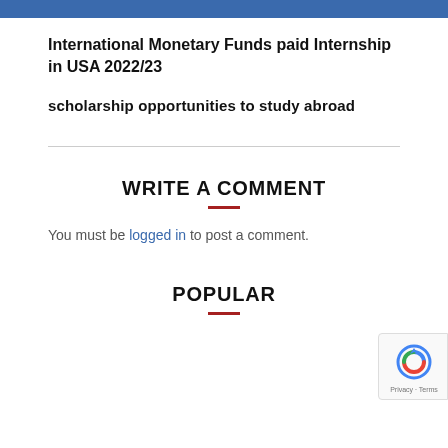International Monetary Funds paid Internship in USA 2022/23
scholarship opportunities to study abroad
WRITE A COMMENT
You must be logged in to post a comment.
POPULAR